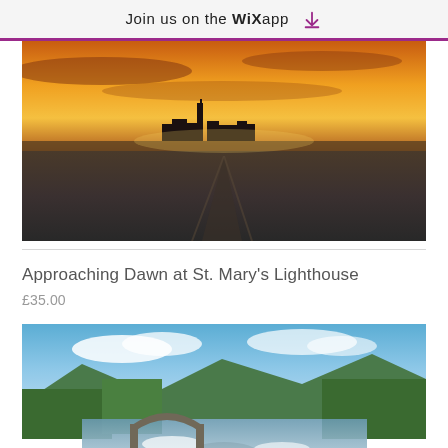Join us on the WiX app
[Figure (photo): Photograph of a lighthouse silhouetted against a vivid orange and purple sunset sky, with a dark flat landscape in the foreground]
Approaching Dawn at St. Mary's Lighthouse
£35.00
[Figure (photo): Photograph of a rushing river or stream with rocks in a lush green forested valley under a blue sky with clouds]